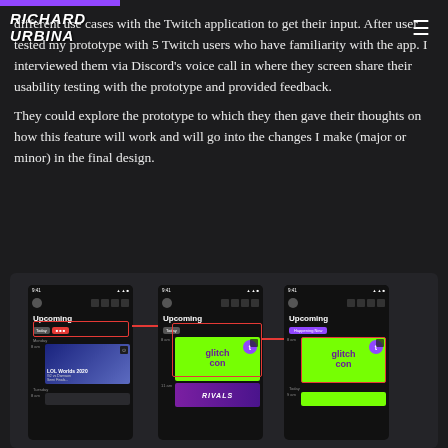Richard Urbina
different use cases with the Twitch application to get their input. After user tested my prototype with 5 Twitch users who have familiarity with the app. I interviewed them via Discord's voice call in where they screen share their usability testing with the prototype and provided feedback.
They could explore the prototype to which they then gave their thoughts on how this feature will work and will go into the changes I make (major or minor) in the final design.
[Figure (screenshot): Three mobile phone screenshots of a Twitch app prototype showing 'Upcoming' event screens with LOL Worlds 2020, GlitchCon, and Twitch Rivals events, connected by red annotation lines showing a zoom/detail flow.]